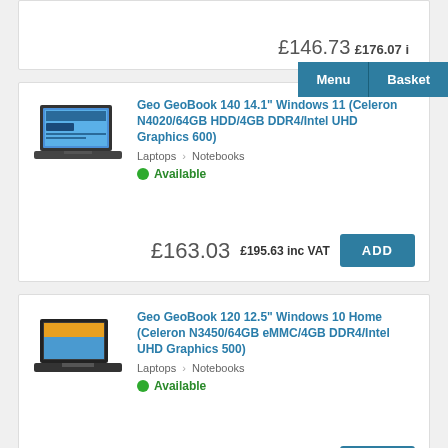£146.73 £176.07 inc VAT
Menu | Basket
Geo GeoBook 140 14.1" Windows 11 (Celeron N4020/64GB HDD/4GB DDR4/Intel UHD Graphics 600)
Laptops > Notebooks
Available
£163.03 £195.63 inc VAT ADD
Geo GeoBook 120 12.5" Windows 10 Home (Celeron N3450/64GB eMMC/4GB DDR4/Intel UHD Graphics 500)
Laptops > Notebooks
Available
£110.82 £132.99 inc VAT ADD
Geo GeoBook 140 Minecraft Edition Green 14.1" Windows 11 Home (Celeron N3450/64GB eMMC/4GB DDR4/Intel UHD Graphics 600)
Laptops > Notebooks